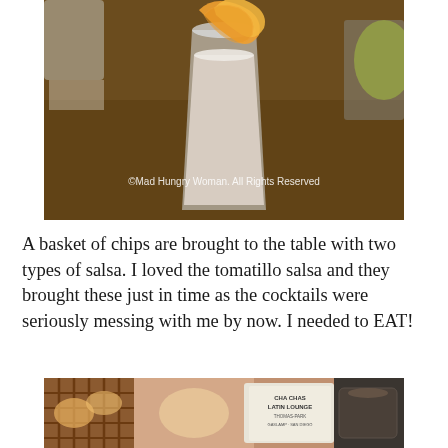[Figure (photo): Close-up photo of a cocktail drink in a tall glass garnished with a large curled orange/grapefruit peel, set on a dark wooden table in a restaurant. A watermark reads '©Mad Hungry Woman. All Rights Reserved'.]
A basket of chips are brought to the table with two types of salsa. I loved the tomatillo salsa and they brought these just in time as the cocktails were seriously messing with me by now. I needed to EAT!
[Figure (photo): Partial photo showing a restaurant table with a chip basket, menus or signage including text 'CHA CHAS LATIN LOUNGE', and what appears to be hands or a purse.]